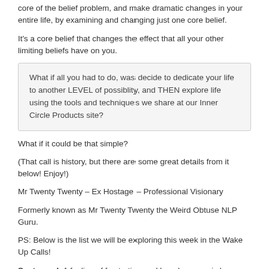core of the belief problem, and make dramatic changes in your entire life, by examining and changing just one core belief.
It's a core belief that changes the effect that all your other limiting beliefs have on you.
What if all you had to do, was decide to dedicate your life to another LEVEL of possiblity, and THEN explore life using the tools and techniques we share at our Inner Circle Products site?
What if it could be that simple?
(That call is history, but there are some great details from it below! Enjoy!)
Mr Twenty Twenty – Ex Hostage – Professional Visionary
Formerly known as Mr Twenty Twenty the Weird Obtuse NLP Guru.
PS: Below is the list we will be exploring this week in the Wake Up Calls!
Sentenced: A feeling of frustration and hopelessness is here. Someone sentenced is maybe the wrong color, feels if they were